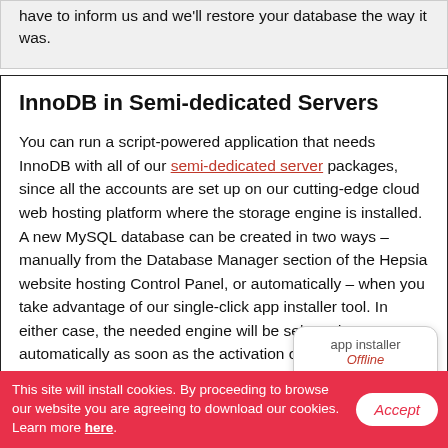have to inform us and we'll restore your database the way it was.
InnoDB in Semi-dedicated Servers
You can run a script-powered application that needs InnoDB with all of our semi-dedicated server packages, since all the accounts are set up on our cutting-edge cloud web hosting platform where the storage engine is installed. A new MySQL database can be created in two ways – manually from the Database Manager section of the Hepsia website hosting Control Panel, or automatically – when you take advantage of our single-click app installer tool. In either case, the needed engine will be selected automatically as soon as the activation of the app begins,
This site will install cookies. By proceeding to browse our website you are agreeing to download our cookies. Learn more here.